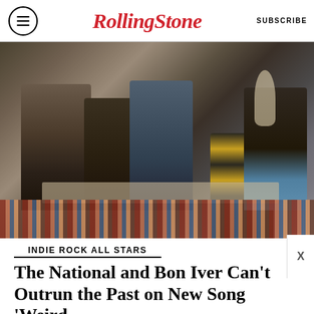Rolling Stone | SUBSCRIBE
[Figure (photo): Five members of The National sitting and posing together in a hotel room with a couch, lamp, and striped rug]
INDIE ROCK ALL STARS
The National and Bon Iver Can't Outrun the Past on New Song 'Weird Goodbyes'
[Figure (infographic): Advertisement banner: MEET AIRWEAVE / MODULAR, WASHABLE MATTRESS / SPY logo on yellow background]